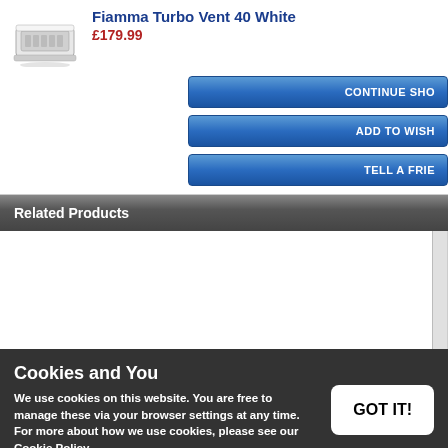[Figure (photo): Product image of Fiamma Turbo Vent 40 White, a white roof vent/fan device shown at an angle]
Fiamma Turbo Vent 40 White
£179.99
[Figure (screenshot): Three blue buttons partially visible: CONTINUE SHO..., ADD TO WISH..., TELL A FRIE...]
Related Products
[Figure (screenshot): Empty white area for related products with a scrollbar on the right]
Cookies and You
We use cookies on this website. You are free to manage these via your browser settings at any time. For more about how we use cookies, please see our Cookie Policy.
[Figure (screenshot): GOT IT! button in white with rounded corners on dark cookie banner]